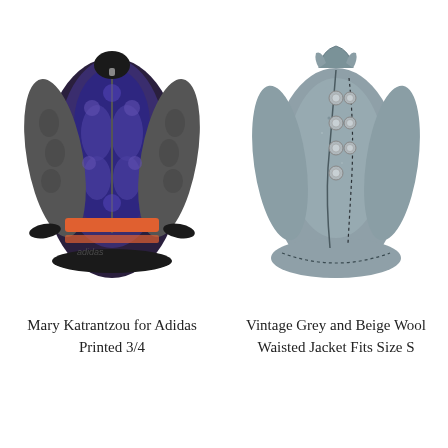[Figure (photo): Mary Katrantzou for Adidas printed 3/4 length zip-up jacket with blue and dark patterned body and orange stripes, grey quilted sleeves]
[Figure (photo): Vintage grey and beige wool waisted jacket with silver buttons, asymmetric front closure and decorative stitching trim, size S]
Mary Katrantzou for Adidas Printed 3/4
Vintage Grey and Beige Wool Waisted Jacket Fits Size S